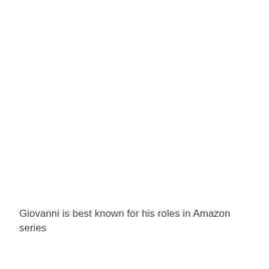Giovanni is best known for his roles in Amazon series